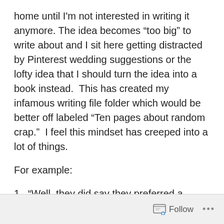home until I'm not interested in writing it anymore. The idea becomes “too big” to write about and I sit here getting distracted by Pinterest wedding suggestions or the lofty idea that I should turn the idea into a book instead.  This has created my infamous writing file folder which would be better off labeled “Ten pages about random crap.”  I feel this mindset has creeped into a lot of things.
For example:
1.  “Well, they did say they preferred a blond actress, I shouldn’t bother with this EPA.  Mmmm warm  bed.”
Follow ...